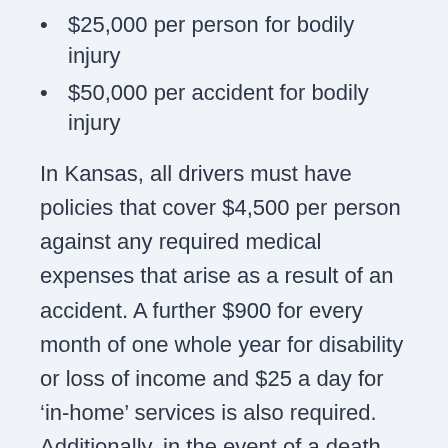$25,000 per person for bodily injury
$50,000 per accident for bodily injury
In Kansas, all drivers must have policies that cover $4,500 per person against any required medical expenses that arise as a result of an accident. A further $900 for every month of one whole year for disability or loss of income and $25 a day for ‘in-home’ services is also required. Additionally, in the event of a death due to a road traffic accident, it is obligatory to have $2,000 of cover for funeral costs and $4,500 to cover any rehabilitation charges.
Minimum legal insurance coverage requirements in Kansas are
$25,000 per person for bodily injury